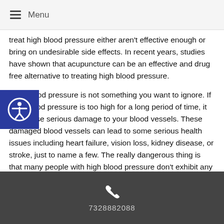Menu
treat high blood pressure either aren't effective enough or bring on undesirable side effects. In recent years, studies have shown that acupuncture can be an effective and drug free alternative to treating high blood pressure.
High blood pressure is not something you want to ignore. If your blood pressure is too high for a long period of time, it can cause serious damage to your blood vessels. These damaged blood vessels can lead to some serious health issues including heart failure, vision loss, kidney disease, or stroke, just to name a few. The really dangerous thing is that many people with high blood pressure don't exhibit any symptoms so it's important to get your blood pressure checked regularly. According to the Centers for Disease Control, approximately, 75 million people in the United States, or 29%
7328882088